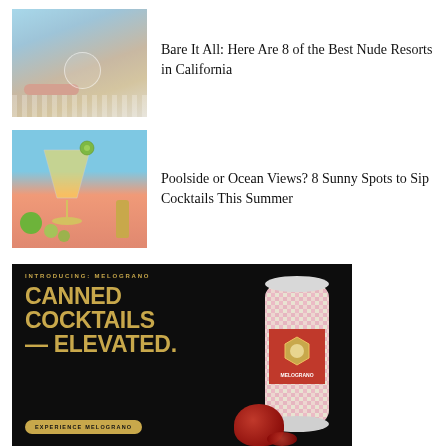[Figure (photo): Pool scene with a decorative fan/plate and a person's arm resting on pool edge, blue water, white stripe border]
Bare It All: Here Are 8 of the Best Nude Resorts in California
[Figure (photo): Cocktail glass with cucumber garnish, lime, and gold bar shaker on peach/pink surface with blue background]
Poolside or Ocean Views? 8 Sunny Spots to Sip Cocktails This Summer
[Figure (infographic): Advertisement for Melograno canned cocktails on black background with gold text reading INTRODUCING: MELOGRANO, CANNED COCKTAILS — ELEVATED., EXPERIENCE MELOGRANO button, and decorative can with pomegranate imagery]